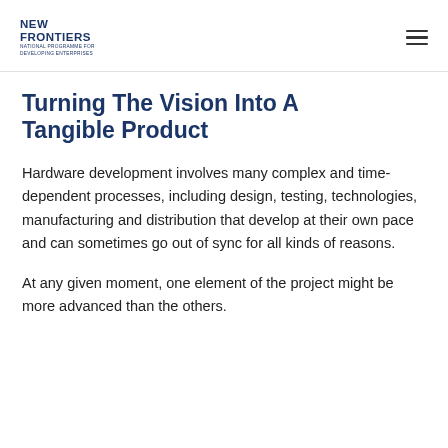NEW FRONTIERS NATIONAL PROGRAMME FOR DEVELOPING ENTERPRISES
Turning The Vision Into A Tangible Product
Hardware development involves many complex and time-dependent processes, including design, testing, technologies, manufacturing and distribution that develop at their own pace and can sometimes go out of sync for all kinds of reasons.
At any given moment, one element of the project might be more advanced than the others.